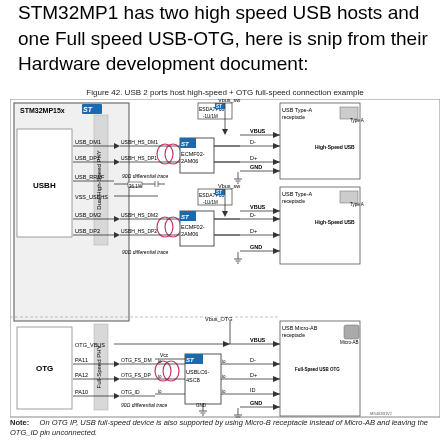STM32MP1 has two high speed USB hosts and one Full speed USB-OTG, here is snip from their Hardware development document:
Figure 42. USB 2 ports host high-speed + OTG full-speed connection example
[Figure (engineering-diagram): Block diagram showing STM32MP15x USB connections: Dual High-Speed PHY (USBH) with USB_DM1, USB_DP1, USB_RREF, VSS_USBHS, USB_DM2, USB_DP2 signals connecting through ECMF02-2AM06 ESD protection chips to two USB Type-A receptacles (High-Speed USB), and Full-Speed PHY (OTG) with OTG_VBUS, PA11, PA12, PA10 signals connecting through USBLC6-4SC8 to a USB Micro-AB receptacle (Full-Speed USB OTG). Includes ESDA7P60 protection on Vbus_sw lines.]
Note: On OTG IP, USB full-speed device is also supported by using Micro-B receptacle instead of Micro-AB and leaving the OTG_ID pin unconnected.